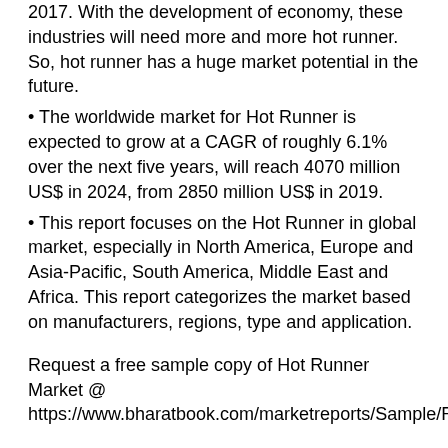2017. With the development of economy, these industries will need more and more hot runner. So, hot runner has a huge market potential in the future.
The worldwide market for Hot Runner is expected to grow at a CAGR of roughly 6.1% over the next five years, will reach 4070 million US$ in 2024, from 2850 million US$ in 2019.
This report focuses on the Hot Runner in global market, especially in North America, Europe and Asia-Pacific, South America, Middle East and Africa. This report categorizes the market based on manufacturers, regions, type and application.
Request a free sample copy of Hot Runner Market @ https://www.bharatbook.com/marketreports/Sample/Reports/1
Market Segment by Manufacturers, this report covers
YUDO